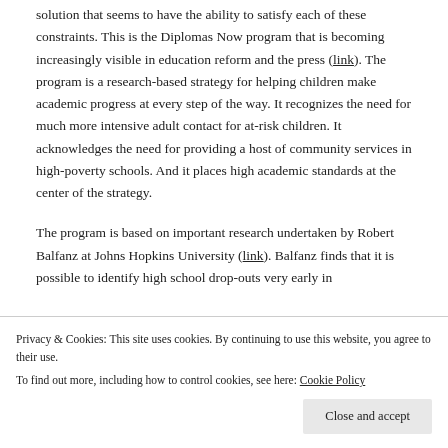solution that seems to have the ability to satisfy each of these constraints. This is the Diplomas Now program that is becoming increasingly visible in education reform and the press (link). The program is a research-based strategy for helping children make academic progress at every step of the way. It recognizes the need for much more intensive adult contact for at-risk children. It acknowledges the need for providing a host of community services in high-poverty schools. And it places high academic standards at the center of the strategy.
The program is based on important research undertaken by Robert Balfanz at Johns Hopkins University (link). Balfanz finds that it is possible to identify high school drop-outs very early in
Privacy & Cookies: This site uses cookies. By continuing to use this website, you agree to their use. To find out more, including how to control cookies, see here: Cookie Policy
school. So, he reasons, let's use these early warning signs and